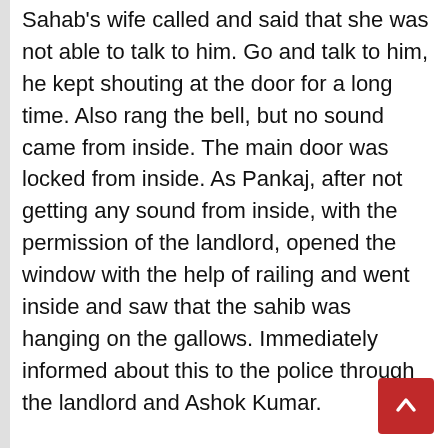Sahab's wife called and said that she was not able to talk to him. Go and talk to him, he kept shouting at the door for a long time. Also rang the bell, but no sound came from inside. The main door was locked from inside. As Pankaj, after not getting any sound from inside, with the permission of the landlord, opened the window with the help of railing and went inside and saw that the sahib was hanging on the gallows. Immediately informed about this to the police through the landlord and Ashok Kumar.
As soon as the information about the incident was received, Sub-Divisional Police Officer Pramod Kumar Keshari